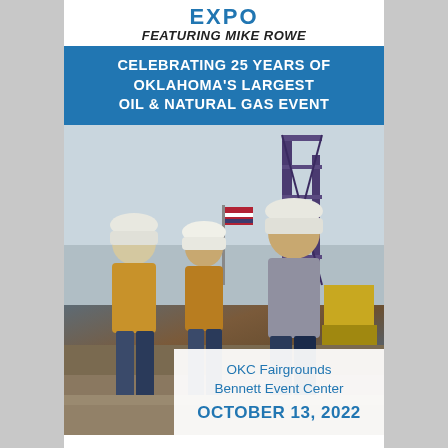FEATURING MIKE ROWE
CELEBRATING 25 YEARS OF OKLAHOMA'S LARGEST OIL & NATURAL GAS EVENT
[Figure (photo): Three workers wearing hard hats and work clothes conversing outdoors near oil/gas drilling equipment. An American flag is visible in the background along with a tall drilling rig structure.]
OKC Fairgrounds
Bennett Event Center
OCTOBER 13, 2022